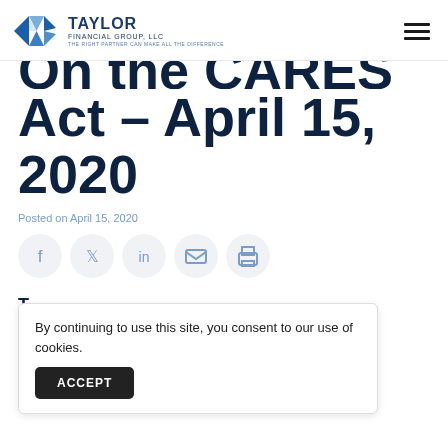Taylor Financial Group, LLC — The right partner can make all the difference
On the CARES Act – April 15, 2020
Posted on April 15, 2020
[Figure (infographic): Social sharing icons: Facebook, Twitter, LinkedIn, Email, Print]
T... fa... m...
By continuing to use this site, you consent to our use of cookies.